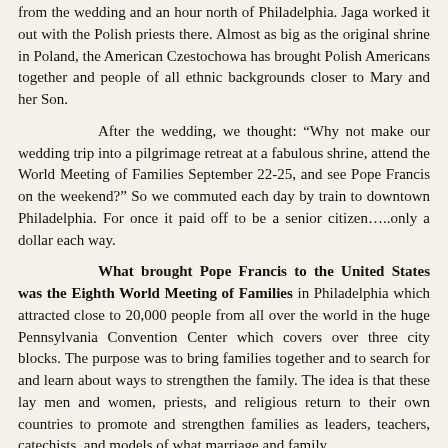from the wedding and an hour north of Philadelphia. Jaga worked it out with the Polish priests there. Almost as big as the original shrine in Poland, the American Czestochowa has brought Polish Americans together and people of all ethnic backgrounds closer to Mary and her Son.
After the wedding, we thought: “Why not make our wedding trip into a pilgrimage retreat at a fabulous shrine, attend the World Meeting of Families September 22-25, and see Pope Francis on the weekend?” So we commuted each day by train to downtown Philadelphia. For once it paid off to be a senior citizen…..only a dollar each way.
What brought Pope Francis to the United States was the Eighth World Meeting of Families in Philadelphia which attracted close to 20,000 people from all over the world in the huge Pennsylvania Convention Center which covers over three city blocks. The purpose was to bring families together and to search for and learn about ways to strengthen the family. The idea is that these lay men and women, priests, and religious return to their own countries to promote and strengthen families as leaders, teachers, catechists, and models of what marriage and family should be. This is not just about families and what it adds to...